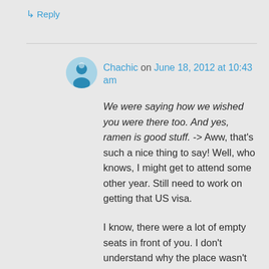↳ Reply
Chachic on June 18, 2012 at 10:43 am
We were saying how we wished you were there too. And yes, ramen is good stuff. -> Aww, that's such a nice thing to say! Well, who knows, I might get to attend some other year. Still need to work on getting that US visa.

I know, there were a lot of empty seats in front of you. I don't understand why the place wasn't full, maybe it wasn't publicized well?